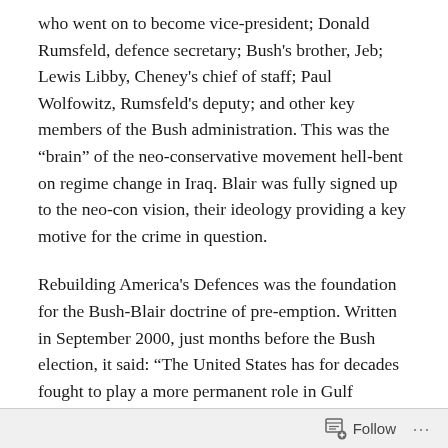who went on to become vice-president; Donald Rumsfeld, defence secretary; Bush's brother, Jeb; Lewis Libby, Cheney's chief of staff; Paul Wolfowitz, Rumsfeld's deputy; and other key members of the Bush administration. This was the “brain” of the neo-conservative movement hell-bent on regime change in Iraq. Blair was fully signed up to the neo-con vision, their ideology providing a key motive for the crime in question.
Rebuilding America's Defences was the foundation for the Bush-Blair doctrine of pre-emption. Written in September 2000, just months before the Bush election, it said: “The United States has for decades fought to play a more permanent role in Gulf regional security. While the unresolved conflict with Iraq provides the immediate
Follow ...